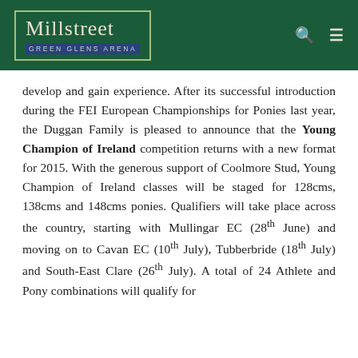Millstreet GREEN GLENS ARENA
develop and gain experience. After its successful introduction during the FEI European Championships for Ponies last year, the Duggan Family is pleased to announce that the Young Champion of Ireland competition returns with a new format for 2015. With the generous support of Coolmore Stud, Young Champion of Ireland classes will be staged for 128cms, 138cms and 148cms ponies. Qualifiers will take place across the country, starting with Mullingar EC (28th June) and moving on to Cavan EC (10th July), Tubberbride (18th July) and South-East Clare (26th July). A total of 24 Athlete and Pony combinations will qualify for